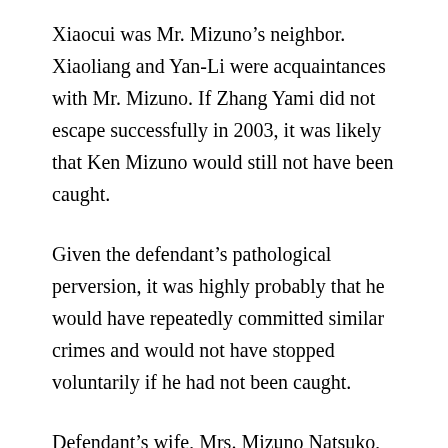Xiaocui was Mr. Mizuno’s neighbor. Xiaoliang and Yan-Li were acquaintances with Mr. Mizuno. If Zhang Yami did not escape successfully in 2003, it was likely that Ken Mizuno would still not have been caught.
Given the defendant’s pathological perversion, it was highly probably that he would have repeatedly committed similar crimes and would not have stopped voluntarily if he had not been caught.
Defendant’s wife, Mrs. Mizuno Natsuko, was fully aware of Mr. Mizuno Ken’s crimes. However, she was not the only one.
In 2003, as Mr. Mizuno was raping and beating Wang